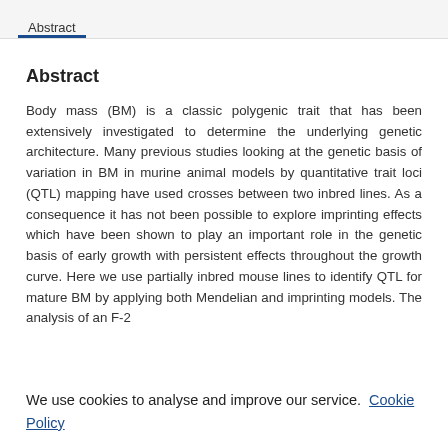Abstract
Abstract
Body mass (BM) is a classic polygenic trait that has been extensively investigated to determine the underlying genetic architecture. Many previous studies looking at the genetic basis of variation in BM in murine animal models by quantitative trait loci (QTL) mapping have used crosses between two inbred lines. As a consequence it has not been possible to explore imprinting effects which have been shown to play an important role in the genetic basis of early growth with persistent effects throughout the growth curve. Here we use partially inbred mouse lines to identify QTL for mature BM by applying both Mendelian and imprinting models. The analysis of an F-2
We use cookies to analyse and improve our service. Cookie Policy